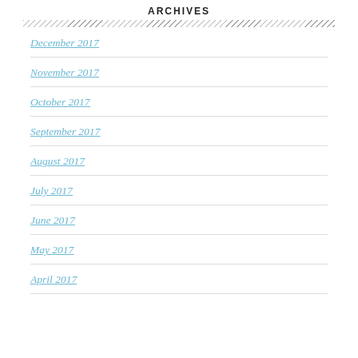ARCHIVES
December 2017
November 2017
October 2017
September 2017
August 2017
July 2017
June 2017
May 2017
April 2017